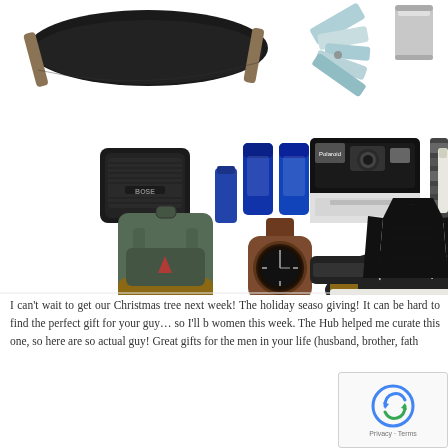[Figure (photo): Collage of men's gift items including: hammock, multi-tool, stainless mug, Bose speaker, grooming products, Polaroid camera, travel grooming kit, cologne, backpack, wood watch, sneakers, safety razor, black thermal long-sleeve shirt]
I can't wait to get our Christmas tree next week! The holiday seaso giving! It can be hard to find the perfect gift for your guy… so I'll b women this week. The Hub helped me curate this one, so here are so actual guy! Great gifts for the men in your life (husband, brother, fath